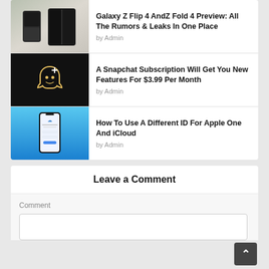[Figure (screenshot): Article thumbnail: Samsung Galaxy Z Flip 4 and Z Fold 4 folding phones on a beige background]
Galaxy Z Flip 4 AndZ Fold 4 Preview: All The Rumors & Leaks In One Place
by Admin
[Figure (screenshot): Snapchat ghost logo with plus sign on black background]
A Snapchat Subscription Will Get You New Features For $3.99 Per Month
by Admin
[Figure (screenshot): iPhone screen on blue gradient background showing Apple ID settings]
How To Use A Different ID For Apple One And iCloud
by Admin
Leave a Comment
Comment